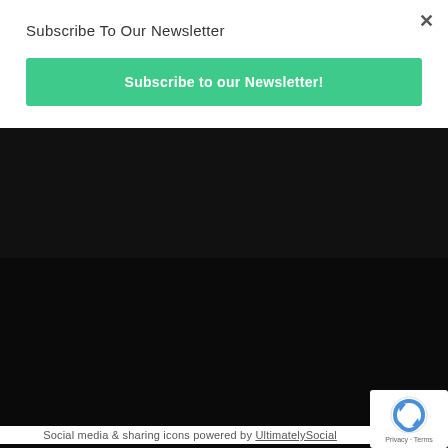Subscribe To Our Newsletter
Subscribe to our Newsletter!
Copyright © 2017. Designed by Anne Cox
About | Current Issue | Past Issues | Calendar | Contact | Distribution | Advertise | Careers | ATX Doctors | ATX Man | Donate
Social media & sharing icons powered by UltimatelySocial